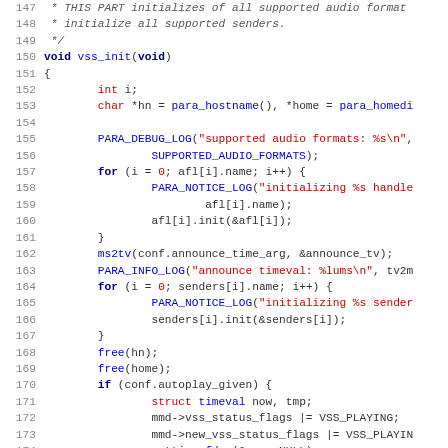[Figure (screenshot): Source code listing in C showing the vss_init function, lines 147-179, with syntax highlighting: keywords in dark blue bold, string literals and types in red, function calls in blue, line numbers in grey.]